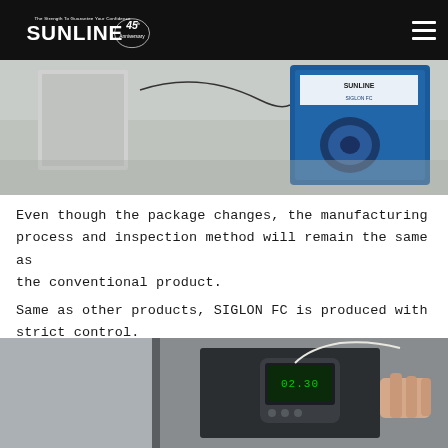SUNLINE — The Strength To Guarantee Your Confidence — 45th Anniversary
[Figure (photo): Product packaging photo showing SUNLINE fishing line spool in blue packaging on a reflective surface]
Even though the package changes, the manufacturing process and inspection method will remain the same as the conventional product.
Same as other products, SIGLON FC is produced with strict control.
[Figure (photo): Laboratory measurement/inspection photo showing a digital gauge device testing fishing line]